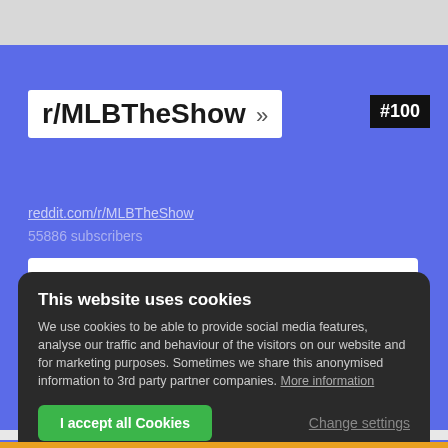r/MLBTheShow »
#100
reddit.com/r/MLBTheShow
55886 subscribers
Unofficial community for the PlayStation Exclusive game MLB: The Show.
This website uses cookies
We use cookies to be able to provide social media features, analyse our traffic and behaviour of the visitors on our website and for marketing purposes. Sometimes we share this anonymised information to 3rd party partner companies. More information
I accept all Cookies
Change settings